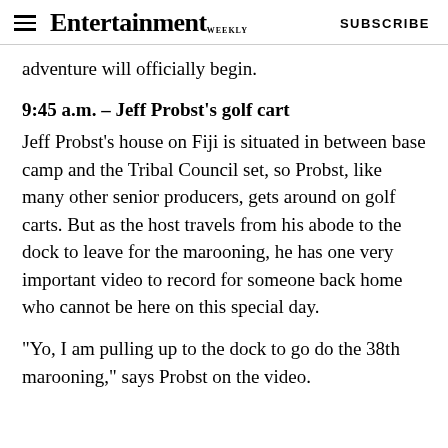Entertainment Weekly   SUBSCRIBE
adventure will officially begin.
9:45 a.m. – Jeff Probst's golf cart
Jeff Probst's house on Fiji is situated in between base camp and the Tribal Council set, so Probst, like many other senior producers, gets around on golf carts. But as the host travels from his abode to the dock to leave for the marooning, he has one very important video to record for someone back home who cannot be here on this special day.
"Yo, I am pulling up to the dock to go do the 38th marooning," says Probst on the video.